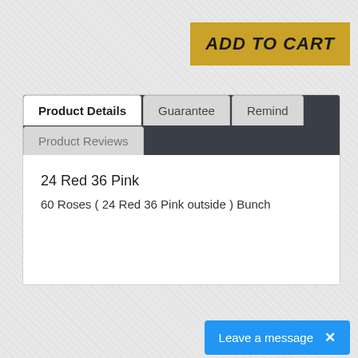[Figure (screenshot): ADD TO CART button in gold/yellow background with italic bold text]
Product Details | Guarantee | Remind | Product Reviews
24 Red 36 Pink
60 Roses ( 24 Red 36 Pink outside ) Bunch
Leave a message  ×